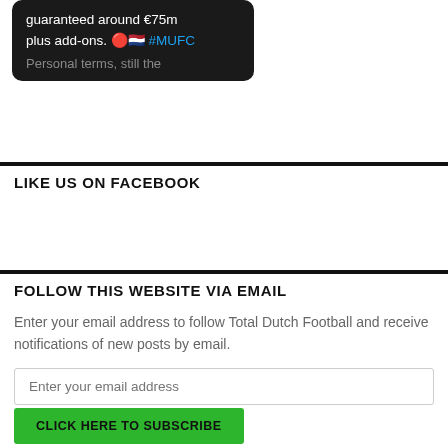[Figure (screenshot): Screenshot of a dark-themed social media post reading 'guaranteed around €75m plus add-ons. 🔴🇳🇱 #MUFC' with a partially visible line 'Personal terms, still the']
LIKE US ON FACEBOOK
FOLLOW THIS WEBSITE VIA EMAIL
Enter your email address to follow Total Dutch Football and receive notifications of new posts by email.
Enter your email address
CLICK HERE TO SUBSCRIBE